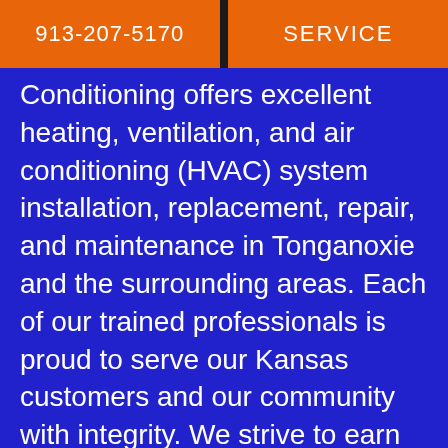913-207-5170 | SERVICE
Conditioning offers excellent heating, ventilation, and air conditioning (HVAC) system installation, replacement, repair, and maintenance in Tonganoxie and the surrounding areas. Each of our trained professionals is proud to serve our Kansas customers and our community with integrity. We strive to earn your loyalty and aim to be your trusted source for all your heating and